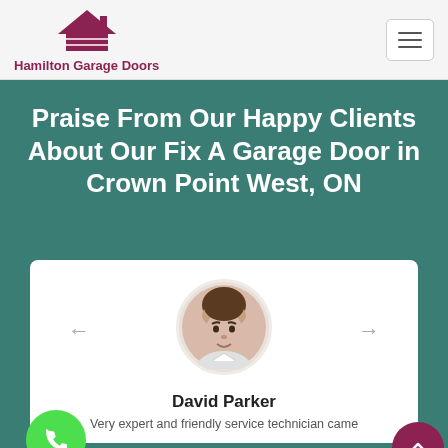Hamilton Garage Doors
Praise From Our Happy Clients About Our Fix A Garage Door in Crown Point West, ON
[Figure (photo): Male reviewer photo in circular frame]
David Parker
Very expert and friendly service technician came